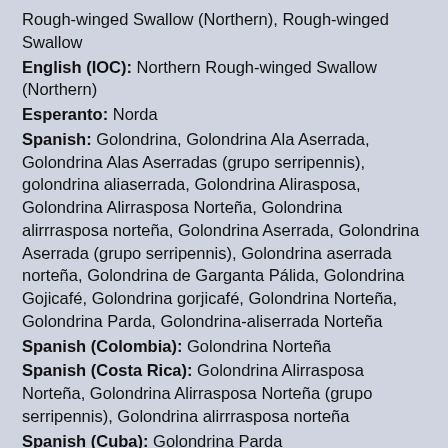Rough-winged Swallow (Northern), Rough-winged Swallow
English (IOC): Northern Rough-winged Swallow (Northern)
Esperanto: Norda
Spanish: Golondrina, Golondrina Ala Aserrada, Golondrina Alas Aserradas (grupo serripennis), golondrina aliaserrada, Golondrina Alirasposa, Golondrina Alirrasposa Norteña, Golondrina alirrrasposa norteña, Golondrina Aserrada, Golondrina Aserrada (grupo serripennis), Golondrina aserrada norteña, Golondrina de Garganta Pálida, Golondrina Gojicafé, Golondrina gorjicafé, Golondrina Norteña, Golondrina Parda, Golondrina-aliserrada Norteña
Spanish (Colombia): Golondrina Norteña
Spanish (Costa Rica): Golondrina Alirrasposa Norteña, Golondrina Alirrasposa Norteña (grupo serripennis), Golondrina alirrrasposa norteña
Spanish (Cuba): Golondrina Parda